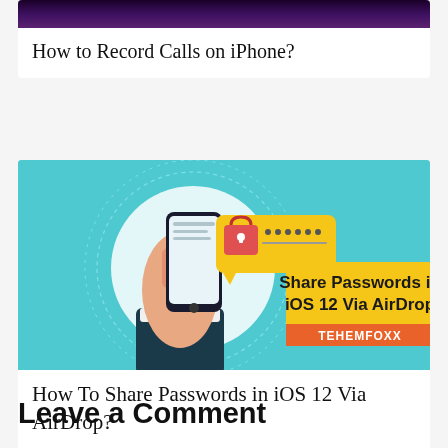[Figure (screenshot): Partially visible dark purple/black banner image at top of page]
How to Record Calls on iPhone?
[Figure (illustration): Illustration showing a hand holding a smartphone with a password/lock icon and speech bubble, with yellow box reading 'Share Passwords in iOS 12 Via AirDrop' and orange banner reading 'TEHEMFOXX' on teal background]
How To Share Passwords in iOS 12 Via AirDrop?
Leave a Comment